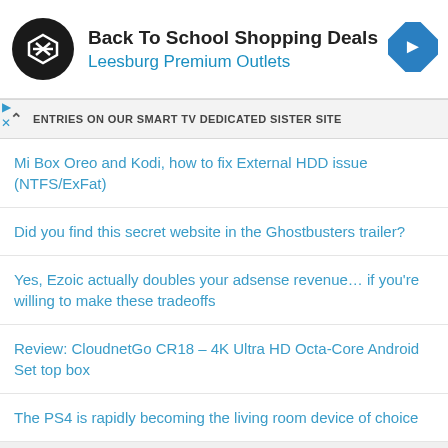[Figure (infographic): Advertisement banner: Back To School Shopping Deals at Leesburg Premium Outlets, with a circular black logo on the left and a blue diamond navigation icon on the right]
ENTRIES ON OUR SMART TV DEDICATED SISTER SITE
Mi Box Oreo and Kodi, how to fix External HDD issue (NTFS/ExFat)
Did you find this secret website in the Ghostbusters trailer?
Yes, Ezoic actually doubles your adsense revenue… if you're willing to make these tradeoffs
Review: CloudnetGo CR18 – 4K Ultra HD Octa-Core Android Set top box
The PS4 is rapidly becoming the living room device of choice